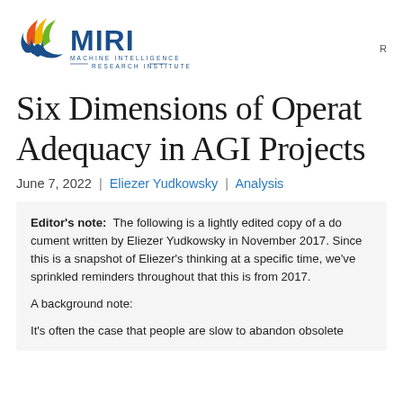[Figure (logo): MIRI - Machine Intelligence Research Institute logo with colorful wing/bird mark and bold blue MIRI text]
Six Dimensions of Operational Adequacy in AGI Projects
June 7, 2022 | Eliezer Yudkowsky | Analysis
Editor's note: The following is a lightly edited copy of a document written by Eliezer Yudkowsky in November 2017. Since this is a snapshot of Eliezer's thinking at a specific time, we've sprinkled reminders throughout that this is from 2017.

A background note:

It's often the case that people are slow to abandon obsolete